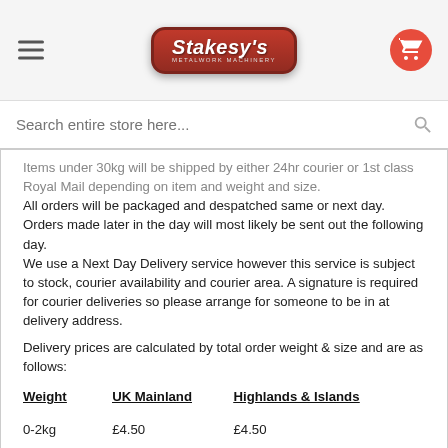[Figure (logo): Stakesy's Metalwork Machinery logo in red rounded rectangle badge]
Search entire store here...
Items under 30kg will be shipped by either 24hr courier or 1st class Royal Mail depending on item and weight and size.
All orders will be packaged and despatched same or next day. Orders made later in the day will most likely be sent out the following day.
We use a Next Day Delivery service however this service is subject to stock, courier availability and courier area. A signature is required for courier deliveries so please arrange for someone to be in at delivery address.
Delivery prices are calculated by total order weight & size and are as follows:
| Weight | UK Mainland | Highlands & Islands |
| --- | --- | --- |
| 0-2kg | £4.50 | £4.50 |
| 2.01-30kg | £4.50 | £21.50 |